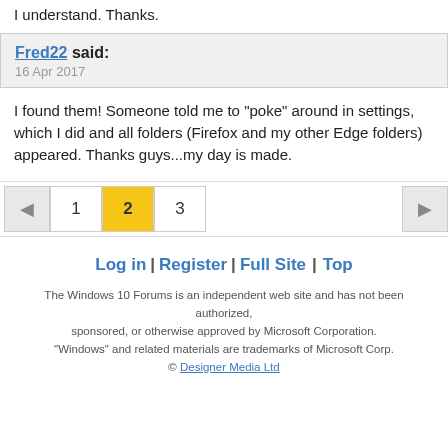I understand. Thanks.
Fred22 said:
16 Apr 2017
I found them! Someone told me to "poke" around in settings, which I did and all folders (Firefox and my other Edge folders) appeared. Thanks guys...my day is made.
◀ 1 2 3 ▶
Log in | Register | Full Site | Top
The Windows 10 Forums is an independent web site and has not been authorized, sponsored, or otherwise approved by Microsoft Corporation. "Windows" and related materials are trademarks of Microsoft Corp. © Designer Media Ltd